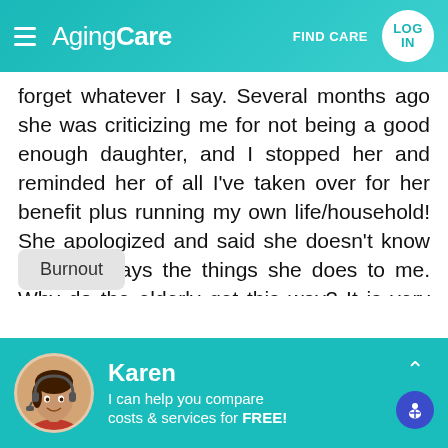AgingCare — FIND CARE — LOG IN
forget whatever I say. Several months ago she was criticizing me for not being a good enough daughter, and I stopped her and reminded her of all I've taken over for her benefit plus running my own life/household! She apologized and said she doesn't know why she says the things she does to me. Why do the elderly get this way? It is very upsetting. Any advice?
Burnout
Karen — I can help you compare costs & services for FREE!